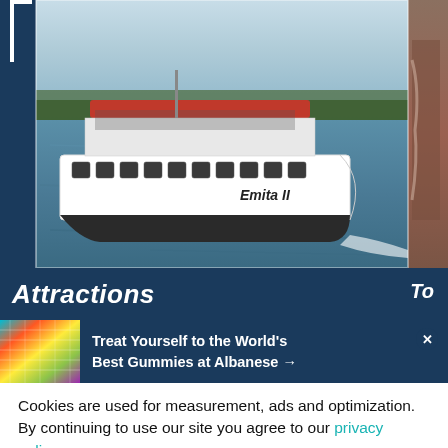[Figure (photo): A white passenger cruise boat named 'Emita II' on a river, full of passengers on the upper deck, with trees in the background and blue sky. A partial photo of another attraction is on the far right edge.]
Attractions
[Figure (photo): Colorful gummy candy advertisement banner with a bright multi-colored texture image on the left and text: 'Treat Yourself to the World's Best Gummies at Albanese →']
Cookies are used for measurement, ads and optimization. By continuing to use our site you agree to our privacy policy.
ACCEPT